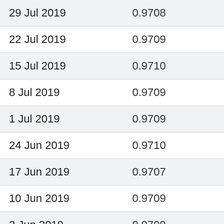| Date | Value |
| --- | --- |
| 29 Jul 2019 | 0.9708 |
| 22 Jul 2019 | 0.9709 |
| 15 Jul 2019 | 0.9710 |
| 8 Jul 2019 | 0.9709 |
| 1 Jul 2019 | 0.9709 |
| 24 Jun 2019 | 0.9710 |
| 17 Jun 2019 | 0.9707 |
| 10 Jun 2019 | 0.9709 |
| 3 Jun 2019 | 0.9709 |
| 27 May 2019 | 0.9709 |
| 20 May 2019 | 0.9711 |
| 13 May 2019 | 0.9708 |
| 6 May 2019 | 0.9708 |
| 29 Apr 2019 | 0.9708 |